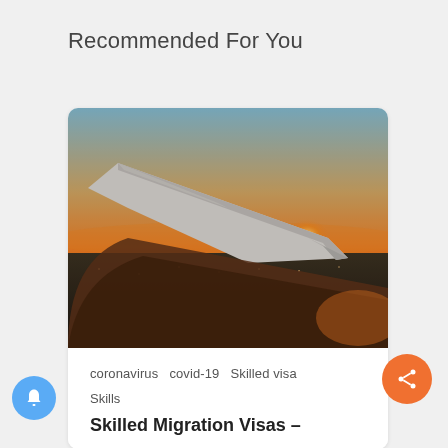Recommended For You
[Figure (photo): View from airplane window showing aircraft wing and sunset over city landscape. Orange and golden sky with the sun near the horizon.]
coronavirus  covid-19  Skilled visa
Skills
Skilled Migration Visas –